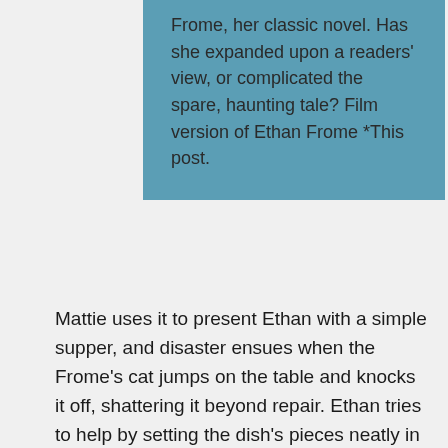Frome, her classic novel. Has she expanded upon a readers' view, or complicated the spare, haunting tale? Film version of Ethan Frome *This post.
Mattie uses it to present Ethan with a simple supper, and disaster ensues when the Frome's cat jumps on the table and knocks it off, shattering it beyond repair. Ethan tries to help by setting the dish's pieces neatly in the cupboard, presenting the false impression of wholeness if not examined closely, with plans to purchase some glue and fix it as soon as he can.
Ethan then goes into town to buy glue for the broken pickle dish, and upon his return finds that Zeena has also come home. Zeena retreats upstairs, proclaiming her illness, and refusing supper because she is not hungry. There, she informs Ethan that she plans to send